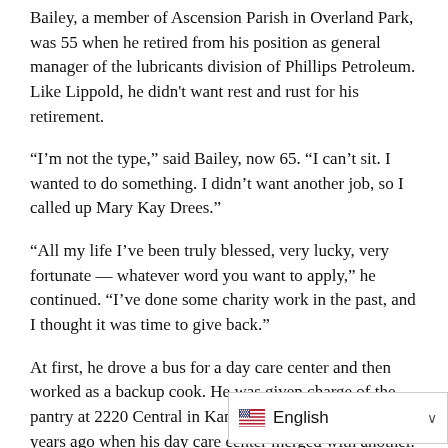Bailey, a member of Ascension Parish in Overland Park, was 55 when he retired from his position as general manager of the lubricants division of Phillips Petroleum. Like Lippold, he didn't want rest and rust for his retirement.
“I’m not the type,” said Bailey, now 65. “I can’t sit. I wanted to do something. I didn’t want another job, so I called up Mary Kay Drees.”
“All my life I’ve been truly blessed, very lucky, very fortunate — whatever word you want to apply,” he continued. “I’ve done some charity work in the past, and I thought it was time to give back.”
At first, he drove a bus for a day care center and then worked as a backup cook. He was given charge of the pantry at 2220 Central in Kansas City, Kan., about five years ago when his day care center merged with another.
Lee Weigel, at 54, is the youngest of the pantry managers. A few years ago, Weigel, an IT c